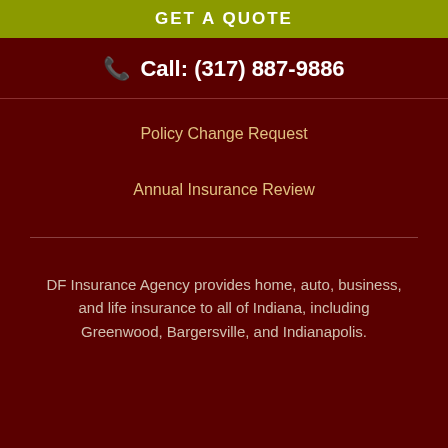GET A QUOTE
Call: (317) 887-9886
Policy Change Request
Annual Insurance Review
DF Insurance Agency provides home, auto, business, and life insurance to all of Indiana, including Greenwood, Bargersville, and Indianapolis.